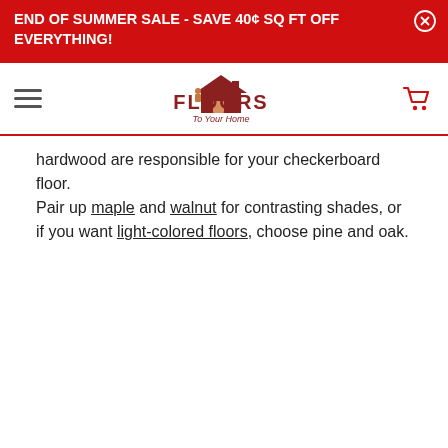END OF SUMMER SALE - SAVE 40¢ SQ FT OFF EVERYTHING!
[Figure (logo): Floors To Your Home logo with house icon]
hardwood are responsible for your checkerboard floor. Pair up maple and walnut for contrasting shades, or if you want light-colored floors, choose pine and oak.